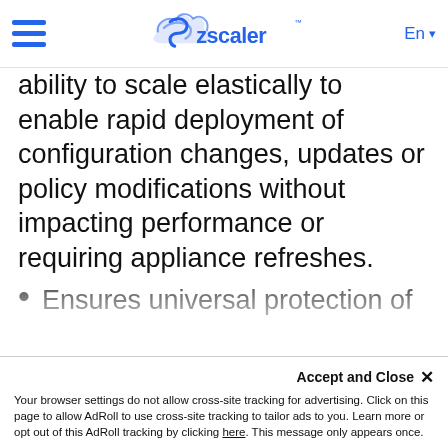Zscaler — En
ability to scale elastically to enable rapid deployment of configuration changes, updates or policy modifications without impacting performance or requiring appliance refreshes.
Ensures universal protection of users regardless of how they connect to the network by enforcing advanced threat prevention, data protection and access controls without compromising performance. SteelConnect SD-WAN and Zscaler Cloud Security work seamlessly together; web and cloud traffic is routed to the optimal Zscaler Data Center based on application and user-defined policies in and routing policies are
Accept and Close ✕
Your browser settings do not allow cross-site tracking for advertising. Click on this page to allow AdRoll to use cross-site tracking to tailor ads to you. Learn more or opt out of this AdRoll tracking by clicking here. This message only appears once.